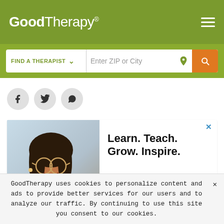GoodTherapy®
FIND A THERAPIST  ∨  Enter ZIP or City
[Figure (screenshot): Social share buttons: Facebook, Twitter, Share icons in gray circles]
[Figure (photo): Advertisement banner showing a smiling woman with glasses and text: Learn. Teach. Grow. Inspire. GoodTherapy]
GoodTherapy uses cookies to personalize content and ads to provide better services for our users and to analyze our traffic. By continuing to use this site you consent to our cookies.